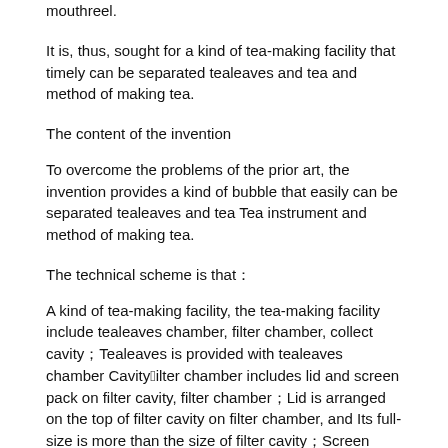mouthreel.
It is, thus, sought for a kind of tea-making facility that timely can be separated tealeaves and tea and method of making tea.
The content of the invention
To overcome the problems of the prior art, the invention provides a kind of bubble that easily can be separated tealeaves and tea Tea instrument and method of making tea.
The technical scheme is that：
A kind of tea-making facility, the tea-making facility include tealeaves chamber, filter chamber, collect cavity；Tealeaves is provided with tealeaves chamber Cavity；Filter chamber includes lid and screen pack on filter cavity, filter chamber；Lid is arranged on the top of filter cavity on filter chamber, and Its full-size is more than the size of filter cavity；Screen pack is set inside filter cavity；Collect cavity includes catchment cavity, collect cavity Upper lid, inclined-plane, extend side, utensil receiving opening, enlarging；The tea from tealeaves chamber, filter chamber